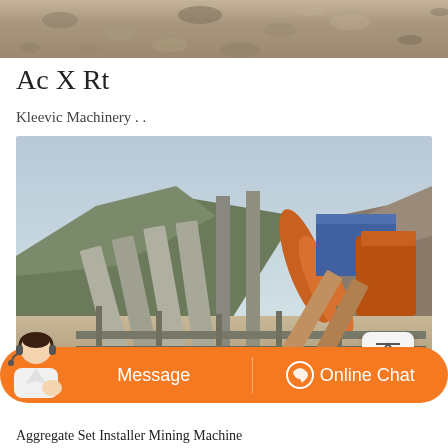[Figure (photo): Aerial/top view of crushed stone or gravel material on a surface]
Ac X Rt
Kleevic Machinery . .
[Figure (photo): Large industrial mining/quarrying site with conveyor belts, machinery, and mountainous terrain in background. Orange industrial equipment visible with blue building structure.]
Message
Online Chat
Aggregate Set Installer Mining Machine